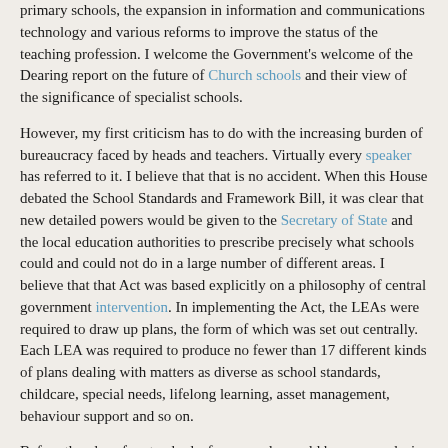primary schools, the expansion in information and communications technology and various reforms to improve the status of the teaching profession. I welcome the Government's welcome of the Dearing report on the future of Church schools and their view of the significance of specialist schools.
However, my first criticism has to do with the increasing burden of bureaucracy faced by heads and teachers. Virtually every speaker has referred to it. I believe that that is no accident. When this House debated the School Standards and Framework Bill, it was clear that new detailed powers would be given to the Secretary of State and the local education authorities to prescribe precisely what schools could and could not do in a large number of different areas. I believe that that Act was based explicitly on a philosophy of central government intervention. In implementing the Act, the LEAs were required to draw up plans, the form of which was set out centrally. Each LEA was required to produce no fewer than 17 different kinds of plans dealing with matters as diverse as school standards, childcare, special needs, lifelong learning, asset management, behaviour support and so on.
Before the plans for standards, for example, could be approved, six groups of constituencies needed to be consulted; and before the plans for access could be approved 13 different constituencies needed to be consulted, including in both cases the heads and governors of all LEA